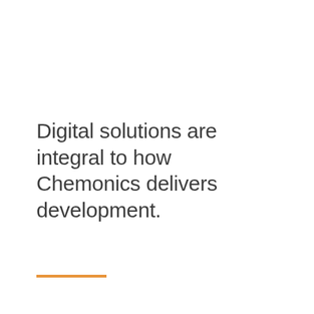Digital solutions are integral to how Chemonics delivers development.
[Figure (other): Orange horizontal decorative line at the bottom left of the page]